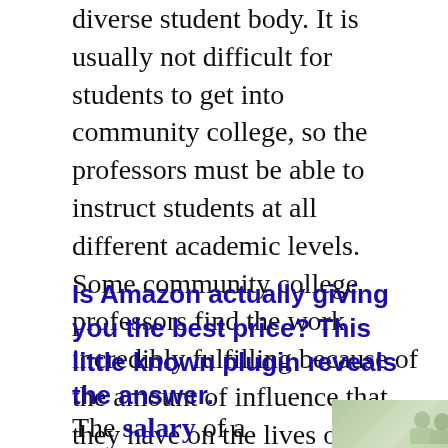diverse student body. It is usually not difficult for students to get into community college, so the professors must be able to instruct students at all different academic levels. Some community college professors find the work incredibly fulfilling because of the amount of influence that they have on the lives of their students. Other professors, however, prefer to exclusively instruct higher-level students.
Is Amazon actually giving you the best price? This little known plugin reveals the answer.
The salary of a
[Figure (photo): Photo of people, partially visible at bottom right of the page]